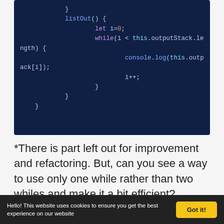[Figure (screenshot): Code block showing JavaScript listOut() method with while loop, console.log, and closing braces on dark navy background]
*There is part left out for improvement and refactoring. But, can you see a way to use only one while rather than two whiles and make it a bit efficient?
Posted by gulleman / OCTOBER 6, 2019 / 0 Comments /
Hello! This website uses cookies to ensure you get the best experience on our website